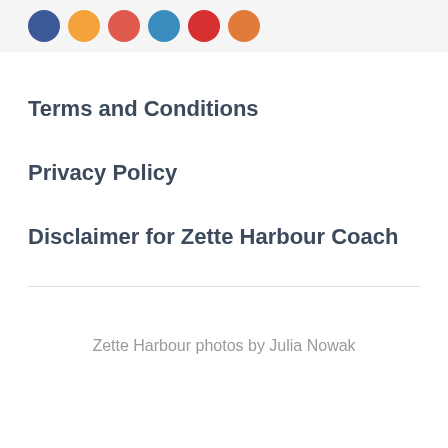[Figure (illustration): Row of colored circles (social media icons or decorative dots): blue, orange, red/coral, blue, red, orange]
Terms and Conditions
Privacy Policy
Disclaimer for Zette Harbour Coach
Zette Harbour photos by Julia Nowak